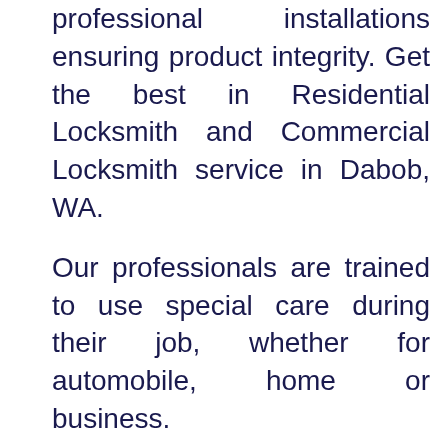professional installations ensuring product integrity. Get the best in Residential Locksmith and Commercial Locksmith service in Dabob, WA.
Our professionals are trained to use special care during their job, whether for automobile, home or business.
We handle all your locksmith needs from lockouts to high-security equipment installations.
Along with excellent delivery in locksmith assistance, Our company offers outstanding customer service and